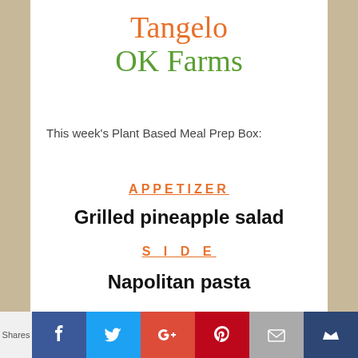Tangelo OK Farms
This week's Plant Based Meal Prep Box:
APPETIZER
Grilled pineapple salad
SIDE
Napolitan pasta
Shares | Facebook | Twitter | Google+ | Pinterest | Email | Crown